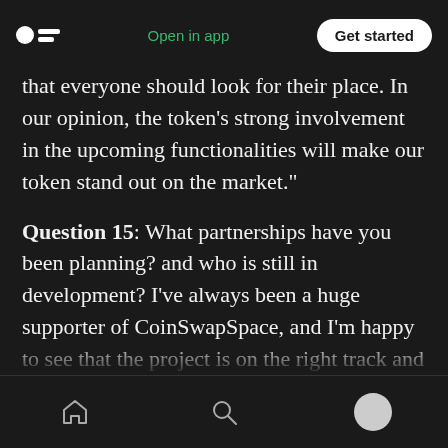Medium logo | Open in app | Get started
that everyone should look for their place. In our opinion, the token’s strong involvement in the upcoming functionalities will make our token stand out on the market.”
Question 15: What partnerships have you been planning? and who is still in development? I’ve always been a huge supporter of CoinSwapSpace, and I’m happy to see that the project is on the right track and gaining a lot of interest and momentum.
Answer: “I can only confirm that at the moment
Home | Search | Profile